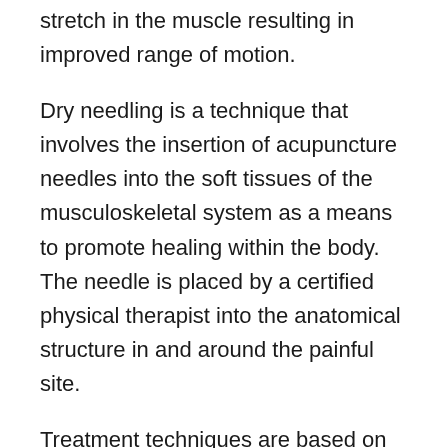stretch in the muscle resulting in improved range of motion.
Dry needling is a technique that involves the insertion of acupuncture needles into the soft tissues of the musculoskeletal system as a means to promote healing within the body. The needle is placed by a certified physical therapist into the anatomical structure in and around the painful site.
Treatment techniques are based on concepts of modern medicine and are not considered acupuncture despite the use of the